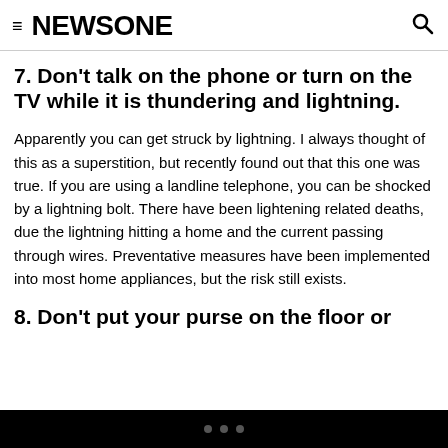≡ NEWSONE 🔍
7. Don't talk on the phone or turn on the TV while it is thundering and lightning.
Apparently you can get struck by lightning. I always thought of this as a superstition, but recently found out that this one was true. If you are using a landline telephone, you can be shocked by a lightning bolt. There have been lightening related deaths, due the lightning hitting a home and the current passing through wires. Preventative measures have been implemented into most home appliances, but the risk still exists.
8. Don't put your purse on the floor or